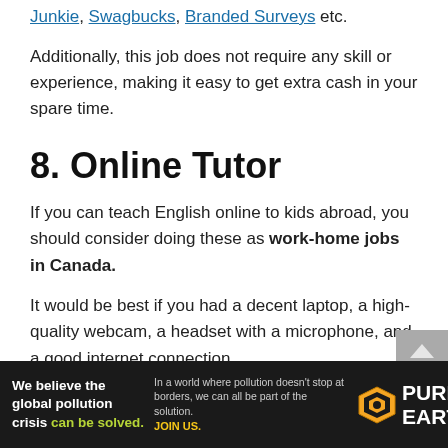Junkie, Swagbucks, Branded Surveys etc.
Additionally, this job does not require any skill or experience, making it easy to get extra cash in your spare time.
8. Online Tutor
If you can teach English online to kids abroad, you should consider doing these as work-home jobs in Canada.
It would be best if you had a decent laptop, a high-quality webcam, a headset with a microphone, and a good internet connection.
[Figure (other): Pure Earth advertisement banner: 'We believe the global pollution crisis can be solved.' with Pure Earth logo on dark background.]